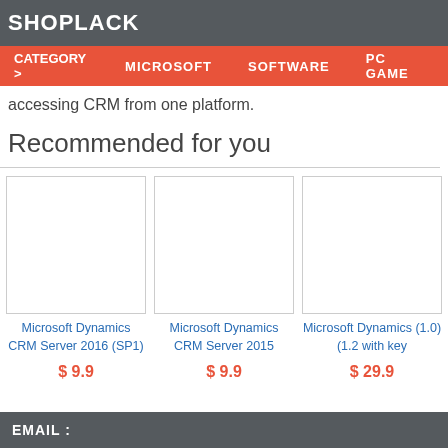SHOPLACK
CATEGORY > MICROSOFT SOFTWARE PC GAME
accessing CRM from one platform.
Recommended for you
[Figure (photo): Product image placeholder white box for Microsoft Dynamics CRM Server 2016 (SP1)]
Microsoft Dynamics CRM Server 2016 (SP1)
$ 9.9
[Figure (photo): Product image placeholder white box for Microsoft Dynamics CRM Server 2015]
Microsoft Dynamics CRM Server 2015
$ 9.9
[Figure (photo): Product image placeholder white box for Microsoft Dynamics (1.0)(1.2 with key]
Microsoft Dynamics (1.0)(1.2 with key
$ 29.9
EMAIL :